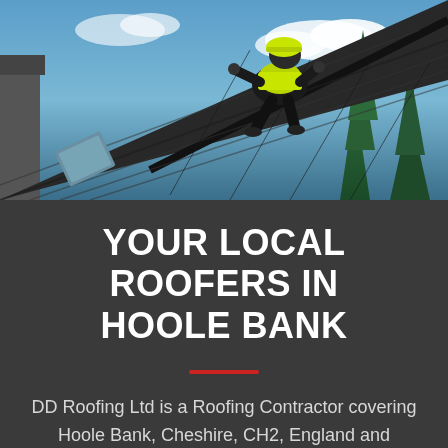[Figure (photo): A roofer in a yellow hi-vis vest working on a dark roof ridge, with blue sky and green pine trees in the background.]
YOUR LOCAL ROOFERS IN HOOLE BANK
DD Roofing Ltd is a Roofing Contractor covering Hoole Bank, Cheshire, CH2, England and surrounding areas. We carryout professional roofing services on both